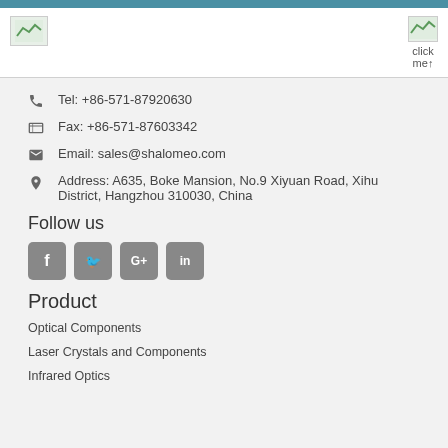[Figure (logo): Company logo placeholder top left]
[Figure (logo): Click me image top right]
Tel: +86-571-87920630
Fax: +86-571-87603342
Email: sales@shalomeo.com
Address: A635, Boke Mansion, No.9 Xiyuan Road, Xihu District, Hangzhou 310030, China
Follow us
[Figure (illustration): Social media icons: Facebook, Twitter, Google+, LinkedIn]
Product
Optical Components
Laser Crystals and Components
Infrared Optics